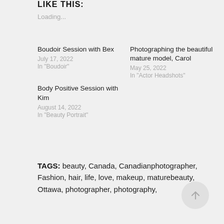LIKE THIS:
Loading...
Boudoir Session with Bex
July 17, 2022
In "Boudoir"
Photographing the beautiful mature model, Carol
May 25, 2022
In "Actor Headshots"
Body Positive Session with Kim
August 14, 2022
In "Beauty Portrait"
TAGS: beauty, Canada, Canadianphotographer, Fashion, hair, life, love, makeup, maturebeauty, Ottawa, photographer, photography,